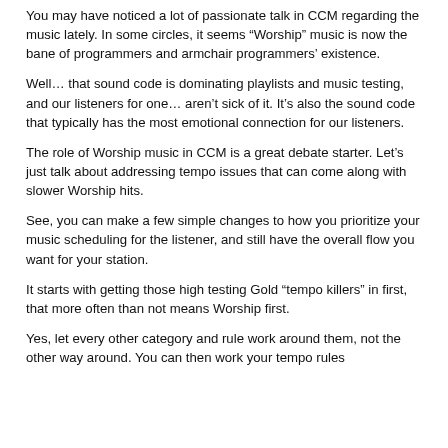You may have noticed a lot of passionate talk in CCM regarding the music lately. In some circles, it seems “Worship” music is now the bane of programmers and armchair programmers’ existence.
Well… that sound code is dominating playlists and music testing, and our listeners for one… aren’t sick of it. It’s also the sound code that typically has the most emotional connection for our listeners.
The role of Worship music in CCM is a great debate starter. Let’s just talk about addressing tempo issues that can come along with slower Worship hits.
See, you can make a few simple changes to how you prioritize your music scheduling for the listener, and still have the overall flow you want for your station.
It starts with getting those high testing Gold “tempo killers” in first, that more often than not means Worship first.
Yes, let every other category and rule work around them, not the other way around. You can then work your tempo rules